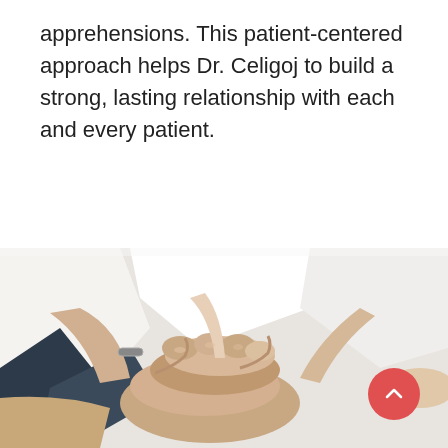apprehensions. This patient-centered approach helps Dr. Celigoj to build a strong, lasting relationship with each and every patient.
[Figure (photo): A group of people, some in white medical coats, stacking their hands together in a team gesture, viewed from above. Multiple hands of different skin tones are piled on top of each other. A red circular scroll-to-top button with a chevron/caret icon is visible in the bottom-right corner.]